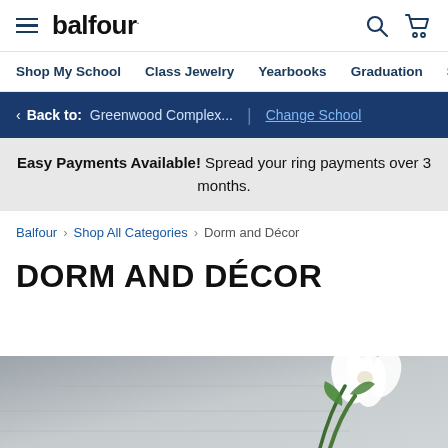balfour. | Shop My School | Class Jewelry | Yearbooks | Graduation | Sc
Back to: Greenwood Complex... | Change School
Easy Payments Available! Spread your ring payments over 3 months.
Balfour > Shop All Categories > Dorm and Décor
DORM AND DÉCOR
[Figure (photo): Partial view of a dorm room with grey bedding and white flowers/plant in the foreground]